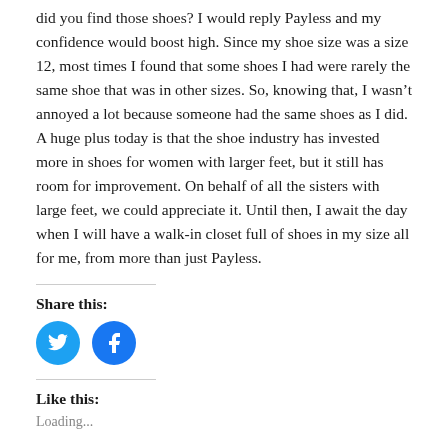did you find those shoes? I would reply Payless and my confidence would boost high. Since my shoe size was a size 12, most times I found that some shoes I had were rarely the same shoe that was in other sizes. So, knowing that, I wasn't annoyed a lot because someone had the same shoes as I did.

A huge plus today is that the shoe industry has invested more in shoes for women with larger feet, but it still has room for improvement. On behalf of all the sisters with large feet, we could appreciate it. Until then, I await the day when I will have a walk-in closet full of shoes in my size all for me, from more than just Payless.
Share this:
[Figure (other): Twitter and Facebook social share icon buttons, circular blue icons]
Like this:
Loading...